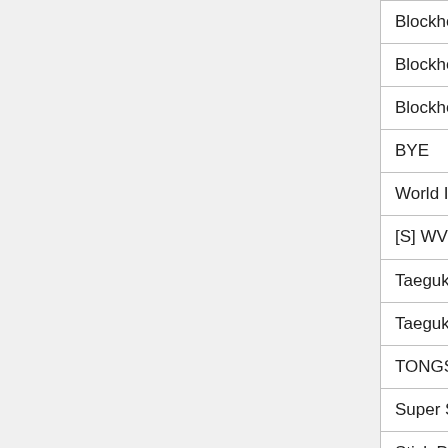| Title | Genre |
| --- | --- |
| Blockhead: Episode 11 | Comedy |
| Blockhead: Episode 10 | Comedy |
| Blockhead: Episode 1 | Comedy |
| BYE | Action |
| World In War 2 | Action |
| [S] WV: Ascend. | Drama |
| Taegukigu: Stagnant Flame | Action |
| Taegukigu: Stagnant Fire | Action |
| TONGS | Comedy |
| Super Smash Flash 2 Teaser | Action |
| Stick Dude Killing Arena 2 | Action |
| Stick Dude Killing Arena | Action |
| Smash Cards | Animation |
| RHG Battle 1: Yoyo vs FLLFFL | Action |